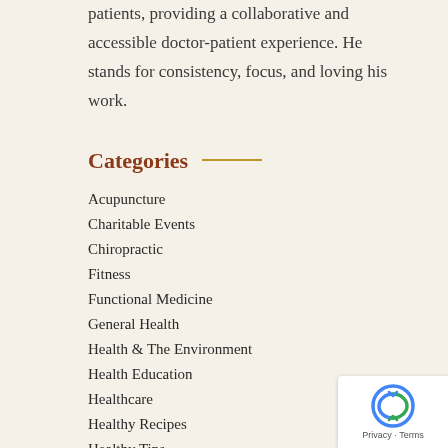patients, providing a collaborative and accessible doctor-patient experience. He stands for consistency, focus, and loving his work.
Categories
Acupuncture
Charitable Events
Chiropractic
Fitness
Functional Medicine
General Health
Health & The Environment
Health Education
Healthcare
Healthy Recipes
Healthy Tips
In The News
Men's Health
Mental and Emotional Health